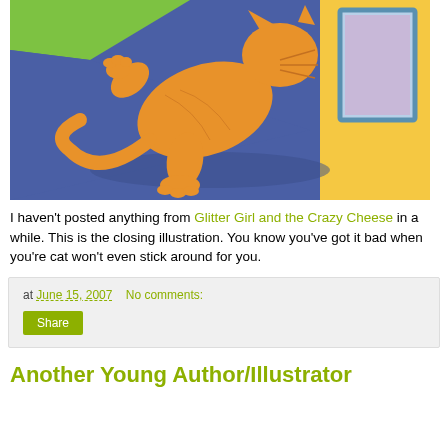[Figure (illustration): Children's book illustration showing an orange cat leaping/jumping through or near a window. The background has blue floor, green grass area, and yellow wall with a purple/lavender window. The cat is mid-leap with paws extended.]
I haven't posted anything from Glitter Girl and the Crazy Cheese in a while. This is the closing illustration. You know you've got it bad when you're cat won't even stick around for you.
at June 15, 2007   No comments:
Share
Another Young Author/Illustrator